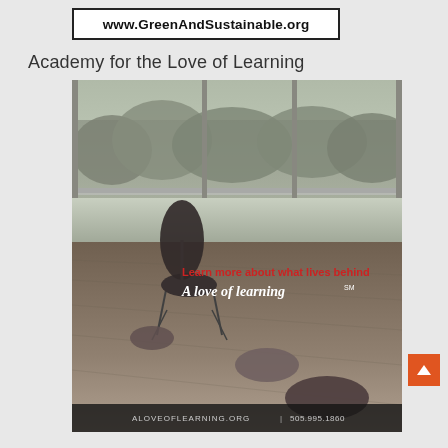www.GreenAndSustainable.org
Academy for the Love of Learning
[Figure (photo): Black and white advertisement photo for Academy for the Love of Learning showing a minimalist room with hardwood floors, a modern chair, smooth stone/pebble seats, and large windows with trees visible outside. Overlay text reads 'Learn more about what lives behind A love of learning℠'. Bottom bar shows 'aloveoflearning.org | 505.995.1860']